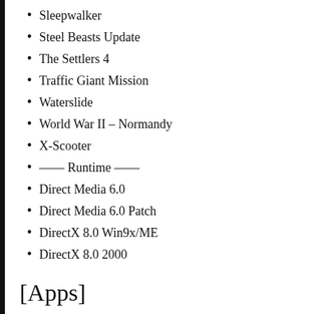Sleepwalker
Steel Beasts Update
The Settlers 4
Traffic Giant Mission
Waterslide
World War II – Normandy
X-Scooter
—— Runtime ——
Direct Media 6.0
Direct Media 6.0 Patch
DirectX 8.0 Win9x/ME
DirectX 8.0 2000
[Apps]
Cakewalk Music Creator 1.0
Composite Suite 1.5 for Adobe AE
Deerfield WorldClient Pro 2.2